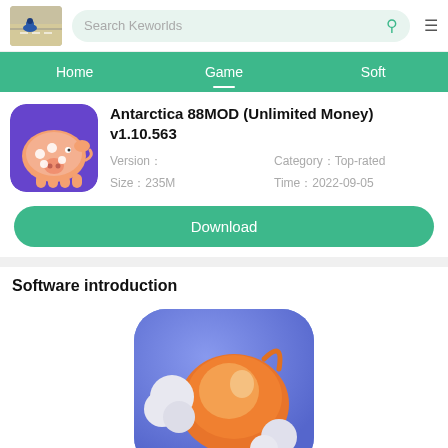Search Keworlds
Home | Game | Soft
Antarctica 88MOD (Unlimited Money) v1.10.563
Version：
Size：235M
Category：Top-rated
Time：2022-09-05
Download
Software introduction
[Figure (illustration): Game app icon showing an orange cartoon character on a blue/purple background with rounded square shape]